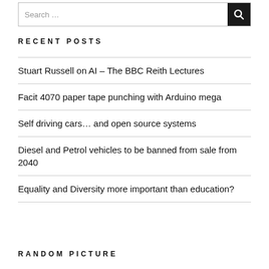RECENT POSTS
Stuart Russell on AI – The BBC Reith Lectures
Facit 4070 paper tape punching with Arduino mega
Self driving cars… and open source systems
Diesel and Petrol vehicles to be banned from sale from 2040
Equality and Diversity more important than education?
RANDOM PICTURE